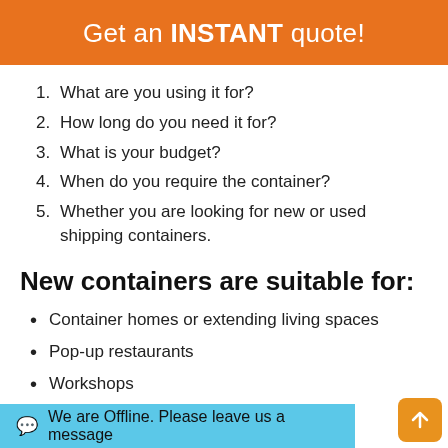Get an INSTANT quote!
1. What are you using it for?
2. How long do you need it for?
3. What is your budget?
4. When do you require the container?
5. Whether you are looking for new or used shipping containers.
New containers are suitable for:
Container homes or extending living spaces
Pop-up restaurants
Workshops
Office spaces
Portable buildings or stores
General-purpose or household storage
We are Offline. Please leave us a message